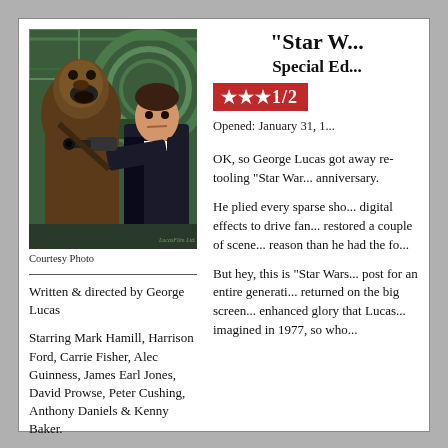[Figure (photo): Movie still showing Chewbacca and Han Solo (Harrison Ford) with a blaster, from Star Wars]
Courtesy Photo
Written & directed by George Lucas
Starring Mark Hamill, Harrison Ford, Carrie Fisher, Alec Guinness, James Earl Jones, David Prowse, Peter Cushing, Anthony Daniels & Kenny Baker.
"Star W...
Special Ed...
★★★1/2
Opened: January 31, 1...
OK, so George Lucas got away re-tooling "Star War... anniversary.
He plied every sparse sho... digital effects to drive fan... restored a couple of scene... reason than he had the fo...
But hey, this is "Star Wars... post for an entire generati... returned on the big screen... enhanced glory that Lucas... imagined in 1977, so who...